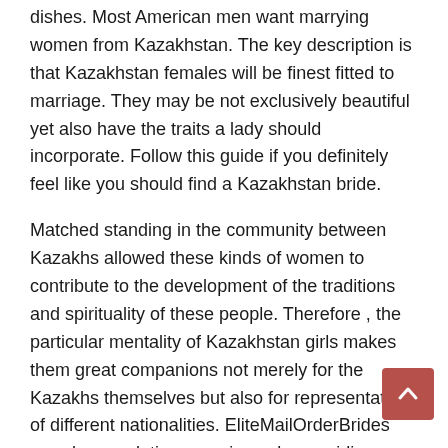dishes. Most American men want marrying women from Kazakhstan. The key description is that Kazakhstan females will be finest fitted to marriage. They may be not exclusively beautiful yet also have the traits a lady should incorporate. Follow this guide if you definitely feel like you should find a Kazakhstan bride.
Matched standing in the community between Kazakhs allowed these kinds of women to contribute to the development of the traditions and spirituality of these people. Therefore , the particular mentality of Kazakhstan girls makes them great companions not merely for the Kazakhs themselves but also for representatives of different nationalities. EliteMailOrderBrides guards your dating experience by providing honest and goal matchmaking web-site evaluations. When you are uncertain relating to correctness of the presented information, you can tackle the service provider to verify it. If you need to start off using a fresh service, it is very essential to be based upon impartial